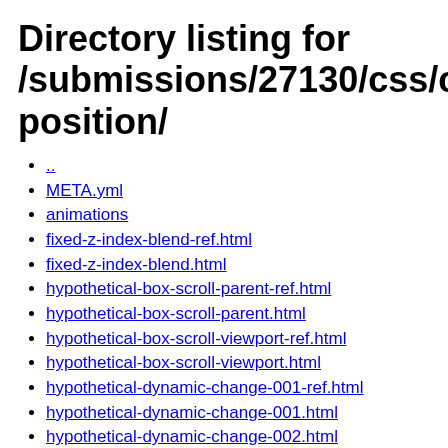Directory listing for /submissions/27130/css/css-position/
..
META.yml
animations
fixed-z-index-blend-ref.html
fixed-z-index-blend.html
hypothetical-box-scroll-parent-ref.html
hypothetical-box-scroll-parent.html
hypothetical-box-scroll-viewport-ref.html
hypothetical-box-scroll-viewport.html
hypothetical-dynamic-change-001-ref.html
hypothetical-dynamic-change-001.html
hypothetical-dynamic-change-002.html
hypothetical-dynamic-change-003.html
inheritance.html
invalidate-opacity-negative-z-index-ref.html
invalidate-opacity-negative-z-index.html